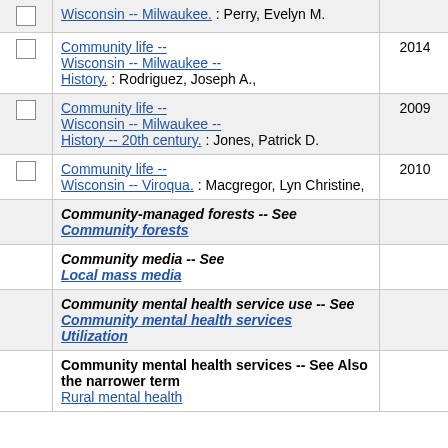|  | Label | Year | Count |
| --- | --- | --- | --- |
| ☐ | Wisconsin -- Milwaukee. : Perry, Evelyn M. |  |  |
| ☐ | Community life -- Wisconsin -- Milwaukee -- History. : Rodriguez, Joseph A., | 2014 | 1 |
| ☐ | Community life -- Wisconsin -- Milwaukee -- History -- 20th century. : Jones, Patrick D. | 2009 | 1 |
| ☐ | Community life -- Wisconsin -- Viroqua. : Macgregor, Lyn Christine, | 2010 | 1 |
|  | Community-managed forests -- See Community forests |  | 1 |
|  | Community media -- See Local mass media |  | 1 |
|  | Community mental health service use -- See Community mental health services Utilization |  | 1 |
|  | Community mental health services -- See Also the narrower term Rural mental health |  | 1 |